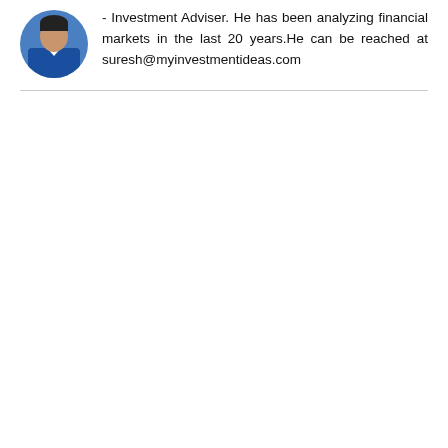[Figure (photo): Circular profile photo of a man in a blue shirt/jacket]
- Investment Adviser. He has been analyzing financial markets in the last 20 years.He can be reached at suresh@myinvestmentideas.com